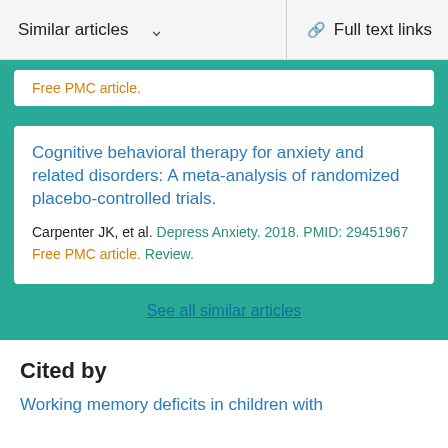Similar articles  ∨    Full text links
Free PMC article.
Cognitive behavioral therapy for anxiety and related disorders: A meta-analysis of randomized placebo-controlled trials.
Carpenter JK, et al. Depress Anxiety. 2018. PMID: 29451967
Free PMC article. Review.
See all similar articles
Cited by
Working memory deficits in children with